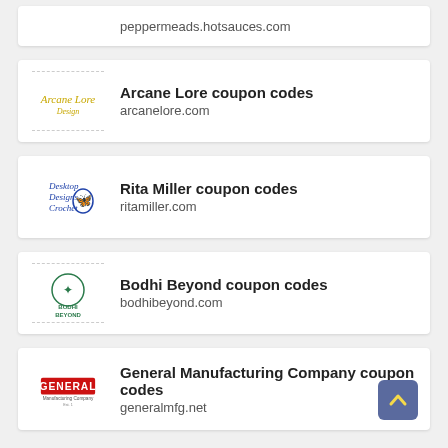peppermeads.hotsauces.com
Arcane Lore coupon codes — arcanelore.com
Rita Miller coupon codes — ritamiller.com
Bodhi Beyond coupon codes — bodhibeyond.com
General Manufacturing Company coupon codes — generalmfg.net